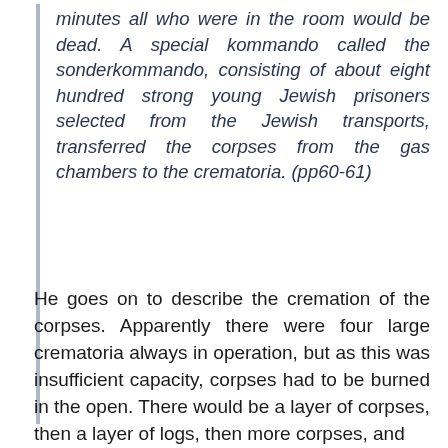minutes all who were in the room would be dead. A special kommando called the sonderkommando, consisting of about eight hundred strong young Jewish prisoners selected from the Jewish transports, transferred the corpses from the gas chambers to the crematoria. (pp60-61)
He goes on to describe the cremation of the corpses. Apparently there were four large crematoria always in operation, but as this was insufficient capacity, corpses had to be burned in the open. There would be a layer of corpses, then a layer of logs, then more corpses, and